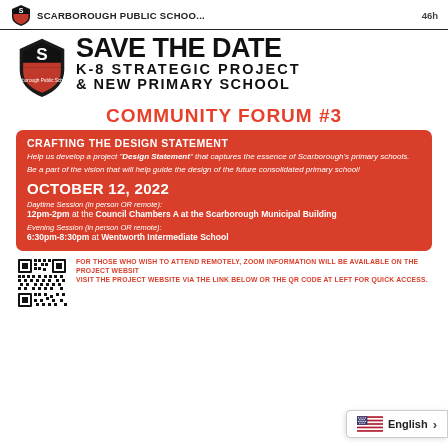SCARBOROUGH PUBLIC SCHOO... 46h
[Figure (logo): Scarborough Public Schools shield logo with red banner and S letter]
SAVE THE DATE K-8 STRATEGIC PROJECT & NEW PRIMARY SCHOOL
COMMUNITY FORUM #3
CRAFTING THE DESIGN STATEMENT
Help us develop a project "Design Statement" that captures the essence of Scarborough's primary schools.
Be a part of the vision that will help guide the design of the future consolidated primary school!
OCTOBER 12, 2022
Daytime Session (in person OR remote): 12pm-2pm at the Council Chambers A at the Scarborough Municipal Building
Evening Session (in person OR remote): 6:30pm-8:30pm at Wentworth Intermediate School
[Figure (other): QR code for project website]
FOR THOSE WHO WISH TO ATTEND REMOTELY, ZOOM INFORMATION WILL BE AVAILABLE ON THE PROJECT WEBSITE. VISIT THE PROJECT WEBSITE VIA THE LINK BELOW OR THE QR CODE AT LEFT FOR QUICK ACCESS.
English